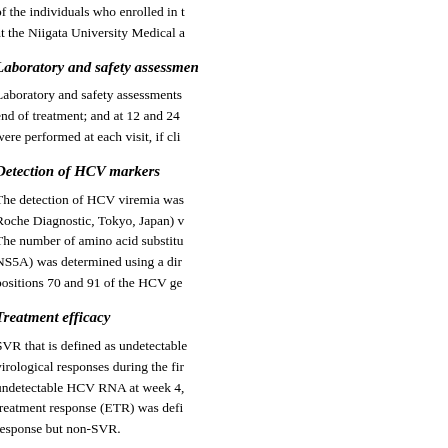of the individuals who enrolled in the study were evaluated at the Niigata University Medical a
Laboratory and safety assessments
Laboratory and safety assessments were conducted at baseline; end of treatment; and at 12 and 24 weeks after treatment. Tests were performed at each visit, if cli
Detection of HCV markers
The detection of HCV viremia was Roche Diagnostic, Tokyo, Japan) v The number of amino acid substitu NS5A) was determined using a dir positions 70 and 91 of the HCV ge
Treatment efficacy
SVR that is defined as undetectable virological responses during the first undetectable HCV RNA at week 4, treatment response (ETR) was defi response but non-SVR.
Interleukin 28B single-nucleoti